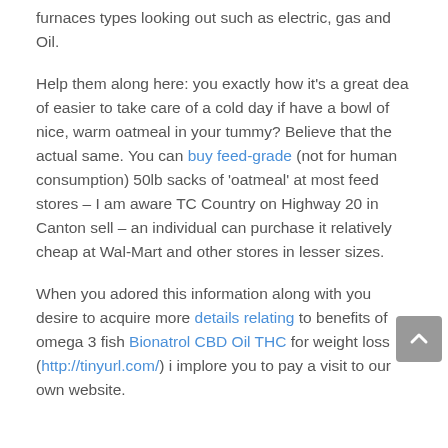furnaces types looking out such as electric, gas and Oil.
Help them along here: you exactly how it's a great dea of easier to take care of a cold day if have a bowl of nice, warm oatmeal in your tummy? Believe that the actual same. You can buy feed-grade (not for human consumption) 50lb sacks of 'oatmeal' at most feed stores – I am aware TC Country on Highway 20 in Canton sell – an individual can purchase it relatively cheap at Wal-Mart and other stores in lesser sizes.
When you adored this information along with you desire to acquire more details relating to benefits of omega 3 fish Bionatrol CBD Oil THC for weight loss (http://tinyurl.com/) i implore you to pay a visit to our own website.